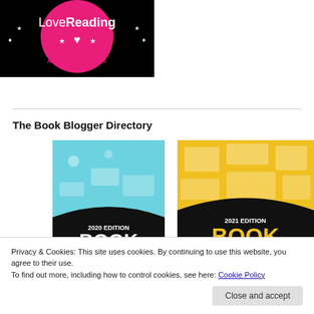[Figure (logo): LoveReading Ambassador badge — circular pink/black badge with heart and stars, white text 'LoveReading' and 'AMBASSADOR']
The Book Blogger Directory
[Figure (photo): Two book covers side by side: left is 'Book Blogger 2020 Edition' with teal illustrated cover; right is '2021 Edition Book Promotion' with yellow illustrated cover]
Privacy & Cookies: This site uses cookies. By continuing to use this website, you agree to their use.
To find out more, including how to control cookies, see here: Cookie Policy